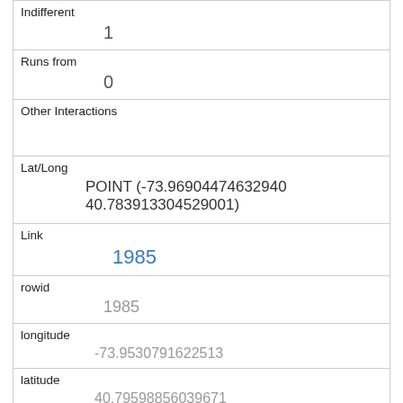| Indifferent | 1 |
| Runs from | 0 |
| Other Interactions |  |
| Lat/Long | POINT (-73.96904474632940 40.783913304529001) |
| Link | 1985 |
| rowid | 1985 |
| longitude | -73.9530791622513 |
| latitude | 40.79598856039671 |
| Unique Squirrel ID | 40G-PM-1013-03 |
| Hectare | 40G |